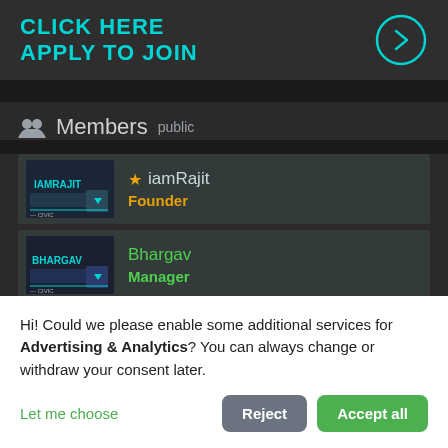[Figure (screenshot): Dark-themed banner with cyan bold text 'CLICK HERE APPLY TO JOIN' and a circular arrow icon on the right]
Members public
[Figure (screenshot): Member row: iamRajit with star icon, role: Founder (yellow text), avatar with truck graphic]
[Figure (screenshot): Member row: Bhargav, role: Manager (green text), avatar with truck graphic]
[Figure (screenshot): Member row: Lelouch__ with dark avatar]
Hi! Could we please enable some additional services for Advertising & Analytics? You can always change or withdraw your consent later.
Let me choose | Reject | Accept all